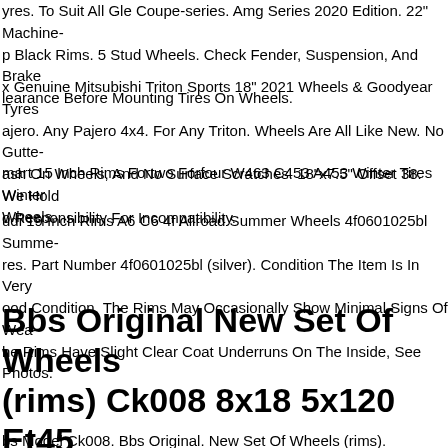yres. To Suit All Gle Coupe-series. Amg Series 2020 Edition. 22" Machine p Black Rims. 5 Stud Wheels. Check Fender, Suspension, And Brake learance Before Mounting Tires On Wheels.
x Genuine Mitsubishi Triton Sports 18" 2021 Wheels & Goodyear Tyres ajero. Any Pajero 4x4. For Any Triton. Wheels Are All Like New. No Gutte ash On Wheels, And No Surface Scratches. 18"x7.5" Offset 38. We Hold o Responsibility For Incompatibility.
mart 15 Inch Rims Fortwo Forfour W463 C453 A453 Winter Tires Winter Wheels.
udi 19 Inch Rims A6 C6 4f Allroad Summer Wheels 4f0601025bl Summe res. Part Number 4f0601025bl (silver). Condition The Item Is In Very ood Condition, The Rims May Occasionally Show Minimal Signs Of Wea he Rims Have Slight Clear Coat Underruns On The Inside, See Photos.
Bbs Original New Set Of Wheels (rims) Ck008 8x18 5x120 Et45
bs Model Ck008. Bbs Original. New Set Of Wheels (rims).